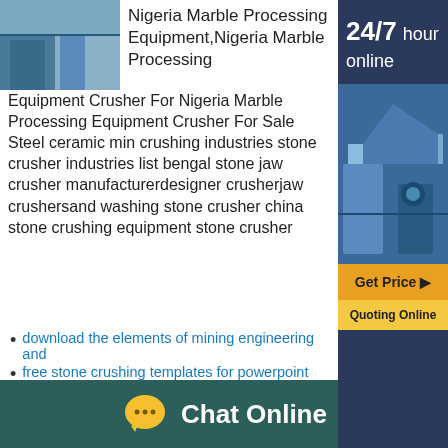[Figure (photo): Photo of marble/stone processing equipment - blue-grey industrial machinery]
Nigeria Marble Processing Equipment,Nigeria Marble Processing Equipment Crusher For Nigeria Marble Processing Equipment Crusher For Sale Steel ceramic min crushing industries stone crusher industries list bengal stone jaw crusher manufacturerdesigner crusherjaw crushersand washing stone crusher china stone crushing equipment stone crusher
[Figure (infographic): Sidebar with 24/7 hour online badge, industrial equipment photo, Get Price button, Quoting Online button]
download the elements of mining engineering and
free stone crushing templates for powerpoint
per ton capicty jaw crusher moovable - Zoek
mini frosting production line - Zoeken
stone quarry for sale tamilnadu - Zoeken
sandhi sudha oil contact nomber sri lanka - Zoeken
[Figure (infographic): Chat Online button bar with speech bubble icon on dark teal background]